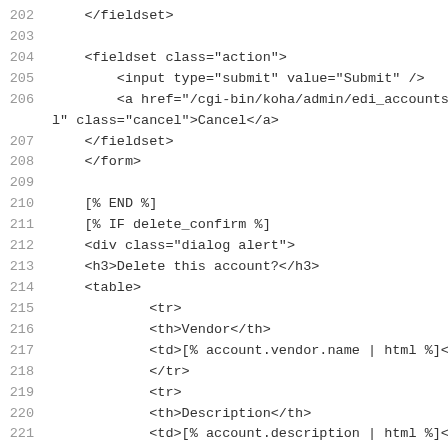202    </fieldset>
203
204        <fieldset class="action">
205            <input type="submit" value="Submit" />
206            <a href="/cgi-bin/koha/admin/edi_accounts.pl" class="cancel">Cancel</a>
207        </fieldset>
208    </form>
209
210    [% END %]
211    [% IF delete_confirm %]
212    <div class="dialog alert">
213    <h3>Delete this account?</h3>
214    <table>
215            <tr>
216            <th>Vendor</th>
217            <td>[% account.vendor.name | html %]</td>
218            </tr>
219            <tr>
220            <th>Description</th>
221            <td>[% account.description | html %]</td>
222            </tr>
223            <tr>